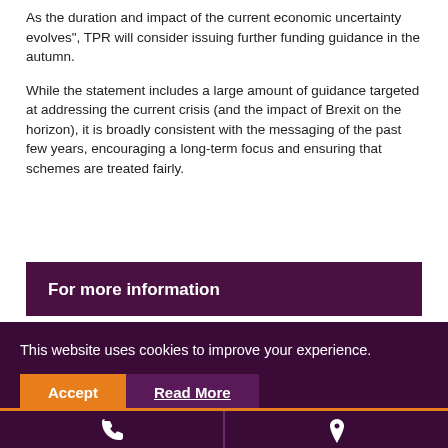As the  duration and impact of the current economic uncertainty evolves", TPR will consider issuing further funding guidance in the autumn.
While the statement includes a large amount of guidance targeted at addressing the current crisis (and the impact of Brexit on the horizon), it is broadly consistent with the messaging of the past few years, encouraging a long-term focus and ensuring that schemes are treated fairly.
For more information
This website uses cookies to improve your experience.